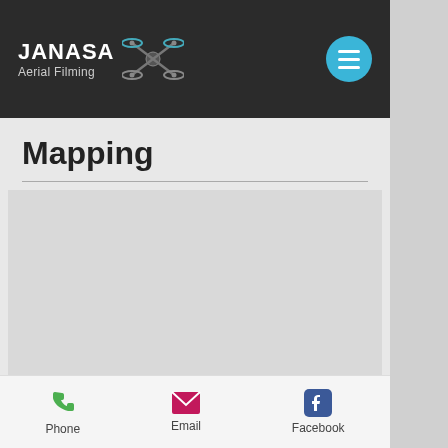JANASA Aerial Filming — navigation bar with logo and hamburger menu
Mapping
[Figure (photo): Light grey placeholder image area for mapping content]
Accessing high level areas safely such as roof coverings, chimneys
Phone | Email | Facebook